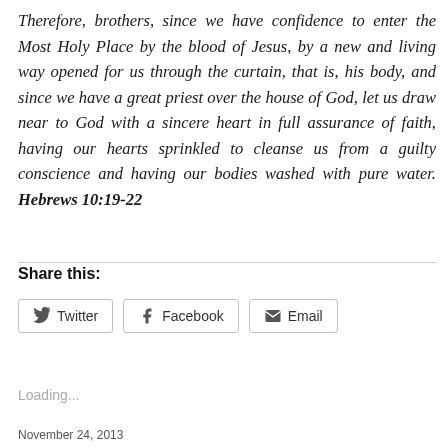Therefore, brothers, since we have confidence to enter the Most Holy Place by the blood of Jesus, by a new and living way opened for us through the curtain, that is, his body, and since we have a great priest over the house of God, let us draw near to God with a sincere heart in full assurance of faith, having our hearts sprinkled to cleanse us from a guilty conscience and having our bodies washed with pure water. Hebrews 10:19-22
Share this:
Twitter
Facebook
Email
Loading...
November 24, 2013